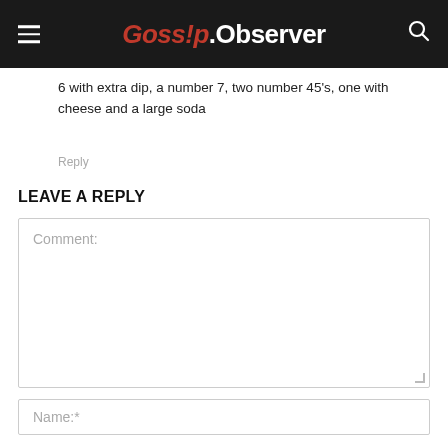Gossip.Observer
6 with extra dip, a number 7, two number 45's, one with cheese and a large soda
Reply
LEAVE A REPLY
Comment:
Name:*
Email:*